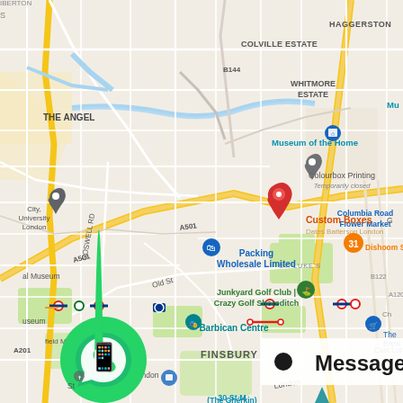[Figure (map): Google Maps screenshot showing area of London around Shoreditch/Old Street/Barbican/Islington. Key landmarks visible: Custom Boxes (red pin marker), Colourbox Printing, Packing Wholesale Limited, Museum of the Home, Columbia Road Flower Market, Junkyard Golf Club/Crazy Golf Shoreditch, Barbican Centre, Dishoom Shoreditch, City University London, Finsbury area, St. Paul's Cathedral area, 30 St Mary Axe (The Gherkin). Roads include A501, Old St, Goswell Rd, B144, B122, A1209, A201. Neighborhoods: The Angel, Haggerston, Colville Estate, Whitmore Estate, St. Luke's. WhatsApp icon (green circle) in bottom left. Message button with black circle icon in bottom right.]